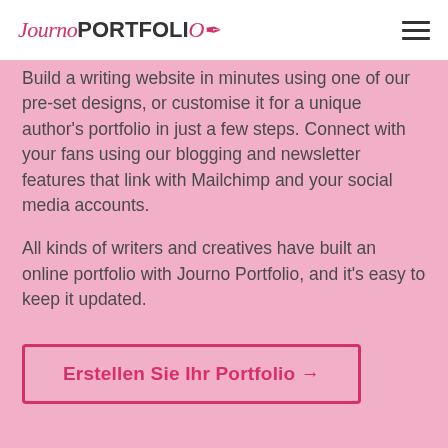[Figure (logo): JournoPORTFOLIO logo with pen icon, in pink and dark grey]
Build a writing website in minutes using one of our pre-set designs, or customise it for a unique author's portfolio in just a few steps. Connect with your fans using our blogging and newsletter features that link with Mailchimp and your social media accounts.

All kinds of writers and creatives have built an online portfolio with Journo Portfolio, and it's easy to keep it updated.
Erstellen Sie Ihr Portfolio →